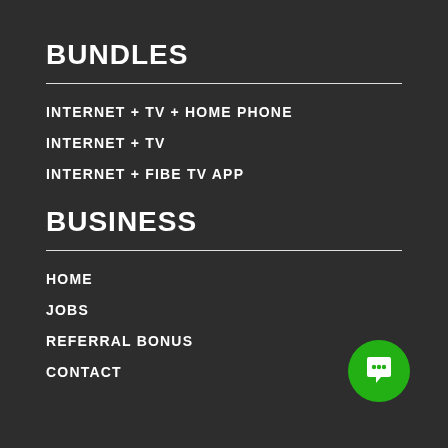BUNDLES
INTERNET + TV + HOME PHONE
INTERNET + TV
INTERNET + FIBE TV APP
BUSINESS
HOME
JOBS
REFERRAL BONUS
CONTACT
[Figure (illustration): Green circular chat/messaging button with speech bubble and ellipsis icon]